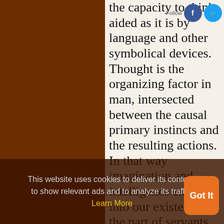the capacity to think, aided as it is by language and other symbolical devices. Thought is the organizing factor in man, intersected between the causal primary instincts and the resulting actions. In that way imagination and intelligence enter into our existence in the part of servants of the primary instincts. But their intervention makes our acts to serve ever less merely the immediate claims of our instincts.
This website uses cookies to deliver its content, to show relevant ads and to analyze its traffic. Learn More